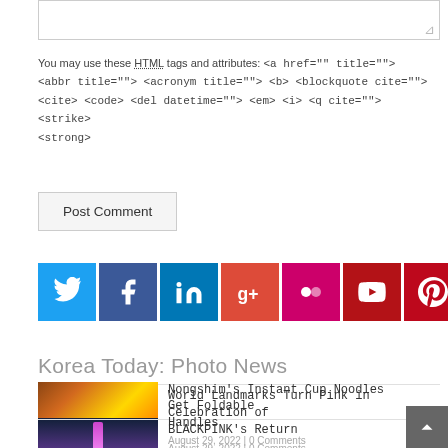You may use these HTML tags and attributes: <a href="" title=""> <abbr title=""> <acronym title=""> <b> <blockquote cite=""> <cite> <code> <del datetime=""> <em> <i> <q cite=""> <strike> <strong>
Post Comment
[Figure (infographic): Social media icon buttons: Twitter (blue), Facebook (dark blue), LinkedIn (blue), Google+ (red), Flickr (pink), YouTube (red), Pinterest (dark red), RSS (orange)]
Korea Today: Photo News
World Landmarks Turn Pink in Celebration of BLACKPINK's Return
August 29, 2022 | 0 Comments
Nongshim's Instant Cup Noodles Get Foldable Handles
August 29, 2022 | 0 Comments